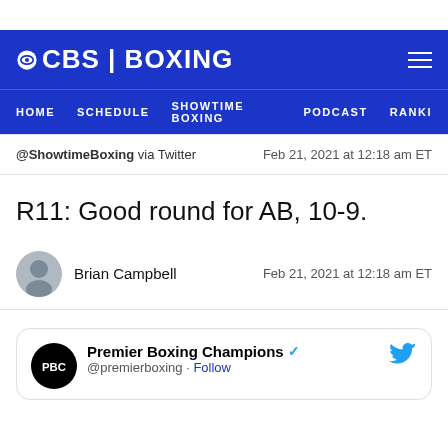CBS | BOXING — HOME  SCHEDULE  SHOWTIME BOXING  PODCAST  RANKI
@ShowtimeBoxing via Twitter — Feb 21, 2021 at 12:18 am ET
R11: Good round for AB, 10-9.
Brian Campbell — Feb 21, 2021 at 12:18 am ET
Premier Boxing Champions @premierboxing · Follow